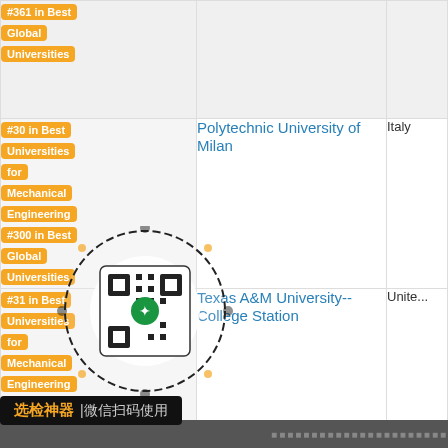| Rank | University | Country |
| --- | --- | --- |
| #361 in Best Global Universities |  |  |
| #30 in Best Universities for Mechanical Engineering
#300 in Best Global Universities | Polytechnic University of Milan | Italy |
| #31 in Best Universities for Mechanical Engineering
#140 in Best Global Universities | Texas A&M University--College Station | Unite... |
|  | ...iing University of Aeronautics and Astronautics | China... |
[Figure (other): QR code overlay with Chinese text label reading '选检神器 |微信扫码使用' (WeChat scan to use school selector tool)]